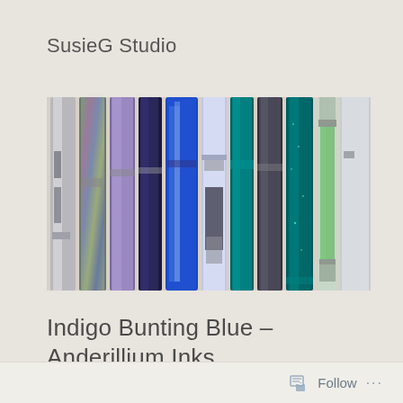SusieG Studio
[Figure (photo): A row of fountain pens and ink tools arranged vertically side by side, in various colors including clear, iridescent/abalone, purple, dark navy, blue marbled, clear/lavender, teal, dark gunmetal, teal glitter, and a glass ink vial with green ink.]
Indigo Bunting Blue – Anderillium Inks
Follow ...